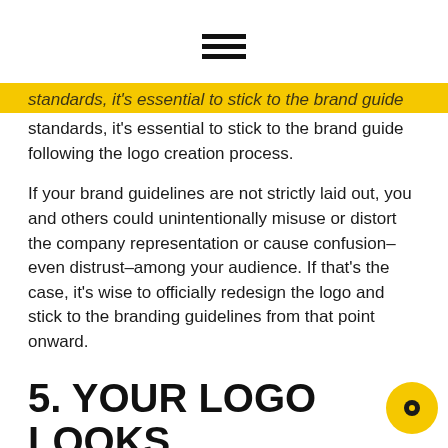[Figure (illustration): Hamburger menu icon: three horizontal black bars]
standards, it's essential to stick to the brand guide following the logo creation process.
If your brand guidelines are not strictly laid out, you and others could unintentionally misuse or distort the company representation or cause confusion–even distrust–among your audience. If that's the case, it's wise to officially redesign the logo and stick to the branding guidelines from that point onward.
5. YOUR LOGO LOOKS EXTREMELY OUTDATED
It could be time to redesign your logo if it's outdated…
[Figure (illustration): Small yellow circle with a dot/eye icon in bottom-right corner]